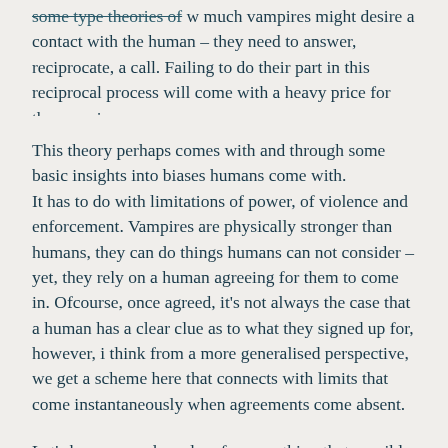…how much vampires might desire a contact with the human – they need to answer, reciprocate, a call. Failing to do their part in this reciprocal process will come with a heavy price for the vampire.
This theory perhaps comes with and through some basic insights into biases humans come with. It has to do with limitations of power, of violence and enforcement. Vampires are physically stronger than humans, they can do things humans can not consider – yet, they rely on a human agreeing for them to come in. Ofcourse, once agreed, it's not always the case that a human has a clear clue as to what they signed up for, however, i think from a more generalised perspective, we get a scheme here that connects with limits that come instantaneously when agreements come absent.
Let's be very crude and go for something that possibly illustrates this point.